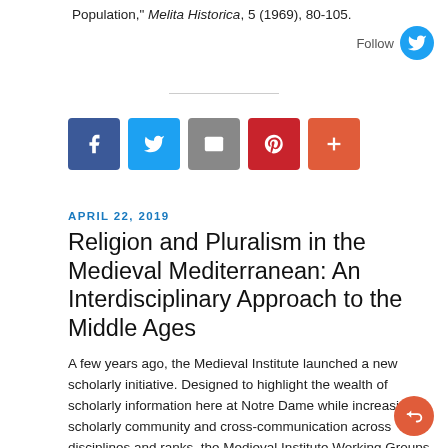Population," Melita Historica, 5 (1969), 80-105.
[Figure (infographic): Social sharing buttons: Facebook (blue), Twitter (blue), Email (gray), Pinterest (red), More (orange-red)]
APRIL 22, 2019
Religion and Pluralism in the Medieval Mediterranean: An Interdisciplinary Approach to the Middle Ages
A few years ago, the Medieval Institute launched a new scholarly initiative. Designed to highlight the wealth of scholarly information here at Notre Dame while increasing scholarly community and cross-communication across disciplines and ranks, the Medieval Institute Working Groups were established as a means of creating such an academic crossroad.